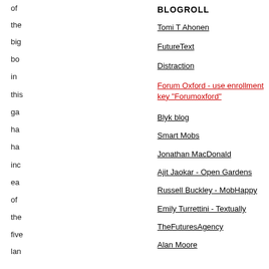BLOGROLL
Tomi T Ahonen
FutureText
Distraction
Forum Oxford - use enrollment key "Forumoxford"
Blyk blog
Smart Mobs
Jonathan MacDonald
Ajit Jaokar - Open Gardens
Russell Buckley - MobHappy
Emily Turrettini - Textually
TheFuturesAgency
Alan Moore
Dan Appelquist
Chetan Sharma
Lars Cosh-Ishii - Wireless Watch Japan
of
the
big
bo
in
this
ga
ha
ha
inc
ea
of
the
five
lan
ha
ma